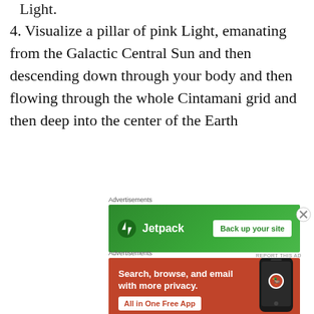Light.
4. Visualize a pillar of pink Light, emanating from the Galactic Central Sun and then descending down through your body and then flowing through the whole Cintamani grid and then deep into the center of the Earth
[Figure (screenshot): Jetpack advertisement banner with green background, Jetpack logo on left and 'Back up your site' button on right]
[Figure (screenshot): DuckDuckGo advertisement with orange/red background showing 'Search, browse, and email with more privacy. All in One Free App' with a phone mockup and DuckDuckGo logo]